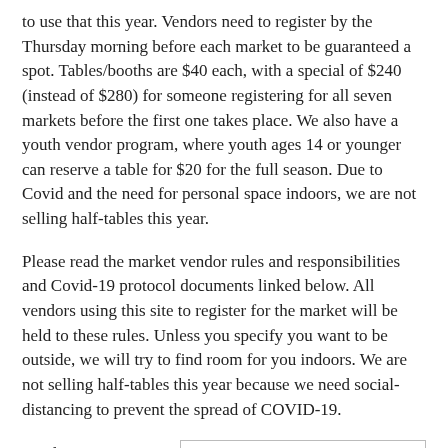to use that this year. Vendors need to register by the Thursday morning before each market to be guaranteed a spot. Tables/booths are $40 each, with a special of $240 (instead of $280) for someone registering for all seven markets before the first one takes place. We also have a youth vendor program, where youth ages 14 or younger can reserve a table for $20 for the full season. Due to Covid and the need for personal space indoors, we are not selling half-tables this year.
Please read the market vendor rules and responsibilities and Covid-19 protocol documents linked below. All vendors using this site to register for the market will be held to these rules. Unless you specify you want to be outside, we will try to find room for you indoors. We are not selling half-tables this year because we need social-distancing to prevent the spread of COVID-19.
Vendors can pay using PayPal or
[Figure (infographic): Ad box with text: 'Are you passionate about local foods?' in bold italic, and 'VOLUNTEER WITH US' in large bold red text.]